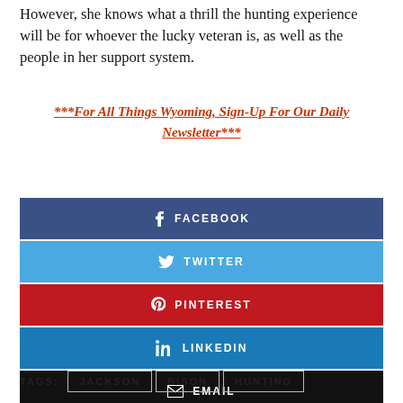However, she knows what a thrill the hunting experience will be for whoever the lucky veteran is, as well as the people in her support system.
***For All Things Wyoming, Sign-Up For Our Daily Newsletter***
[Figure (infographic): Social share buttons: Facebook (dark blue), Twitter (light blue), Pinterest (red), LinkedIn (blue), Email (black)]
TAGS: JACKSON  BISON  HUNTING